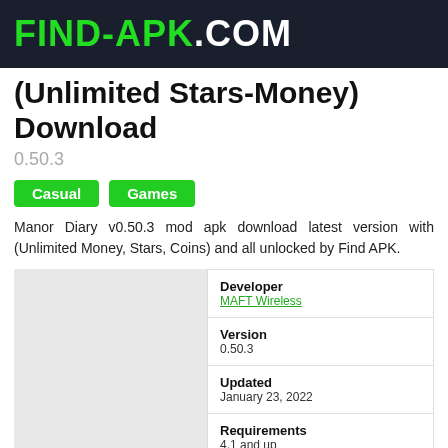FIND-APK.COM
(Unlimited Stars-Money) Download
0.50.3
Casual
Games
Manor Diary v0.50.3 mod apk download latest version with (Unlimited Money, Stars, Coins) and all unlocked by Find APK.
| Field | Value |
| --- | --- |
| Developer | MAFT Wireless |
| Version | 0.50.3 |
| Updated | January 23, 2022 |
| Requirements | 4.1 and up |